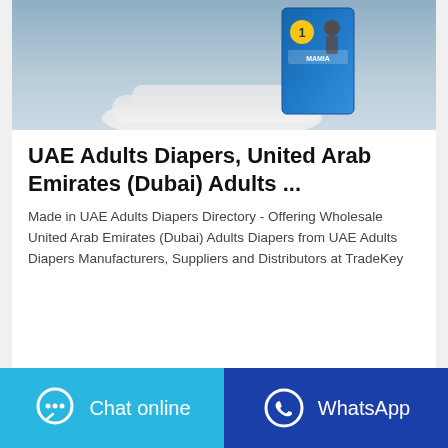[Figure (photo): Product photo of a Mamia/Huggies-style baby diaper package (blue box, size 1) resting on white folded cloth/pillows against a light blue-grey background]
UAE Adults Diapers, United Arab Emirates (Dubai) Adults ...
Made in UAE Adults Diapers Directory - Offering Wholesale United Arab Emirates (Dubai) Adults Diapers from UAE Adults Diapers Manufacturers, Suppliers and Distributors at TradeKey
Contact the manufacturer
WhatsApp
Chat online
WhatsApp